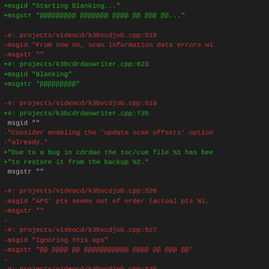diff/patch file showing code changes in gettext PO format for k3b project localization
+msgid "Starting blanking..."
+msgstr "ββββββββ βββββββ ββββ ββ βββ ββ..."

-#: projects/videocd/k3bvcdjob.cpp:518
-msgid "From now on, scan information data errors wi
-msgstr ""
+#: projects/k3bcdrdaowriter.cpp:623
+msgid "Blanking"
+msgstr "βββββββββ"

-#: projects/videocd/k3bvcdjob.cpp:519
+#: projects/k3bcdrdaowriter.cpp:735
 msgid ""
-"Consider enabling the 'update scan offsets' option
-"already."
+"Due to a bug in cdrdao the toc/cue file %1 has bee
+"to restore it from the backup %2."
 msgstr ""

-#: projects/videocd/k3bvcdjob.cpp:526
-msgid "APS' pts seems out of order (actual pts %1,
-msgstr ""
-
-#: projects/videocd/k3bvcdjob.cpp:527
-msgid "Ignoring this aps"
-msgstr "ββ ββββ ββ βββββββββββ ββββ ββ βββ ββ"
-
-#: projects/videocd/k3bvcdjob.cpp:535
-msgid "Bad packet at packet #%1 (stream byte offset
-msgstr "βββββ #%1 ββ ββββ βββββ (βββββββ ββββ βββ